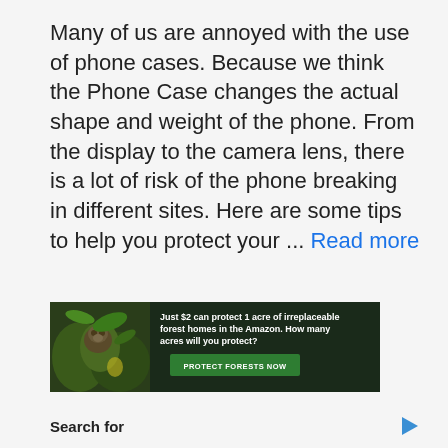Many of us are annoyed with the use of phone cases. Because we think the Phone Case changes the actual shape and weight of the phone. From the display to the camera lens, there is a lot of risk of the phone breaking in different sites. Here are some tips to help you protect your ... Read more
[Figure (other): Advertisement banner for Amazon forest protection: 'Just $2 can protect 1 acre of irreplaceable forest homes in the Amazon. How many acres will you protect?' with a monkey image and green 'PROTECT FORESTS NOW' button]
Search for
01. Top Email Marketing Software
02. ID Fraud Protection Top Software
Yahoo! Search | Sponsored